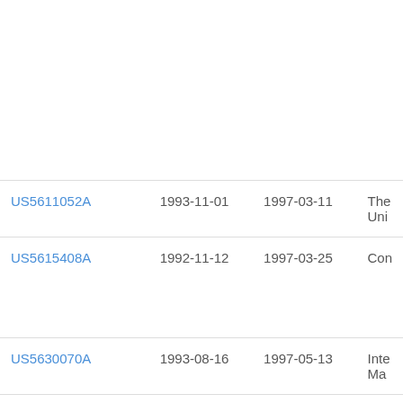| Patent | Filing Date | Publication Date | Assignee |
| --- | --- | --- | --- |
| US5611052A | 1993-11-01 | 1997-03-11 | The Uni… |
| US5615408A | 1992-11-12 | 1997-03-25 | Con… |
| US5630070A | 1993-08-16 | 1997-05-13 | Inte… Ma… |
| US5629982A | 1995-03-21 | 1997-05-13 | Mic… |
| US5630127A | 1992-05-15 | 1997-05-13 | Inte… Ma… |